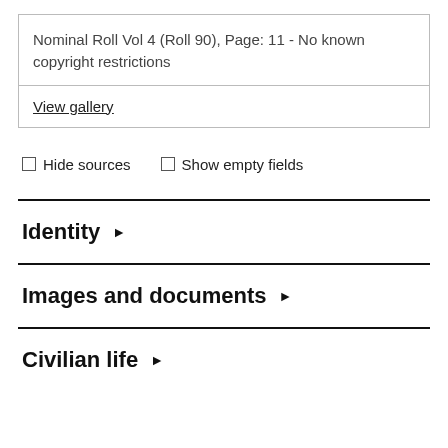Nominal Roll Vol 4 (Roll 90), Page: 11 - No known copyright restrictions
View gallery
Hide sources   Show empty fields
Identity ▶
Images and documents ▶
Civilian life ▶